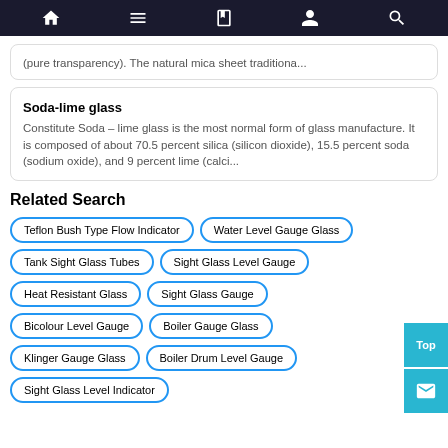Navigation bar with home, menu, book, user, search icons
(pure transparency). The natural mica sheet traditiona...
Soda-lime glass
Constitute Soda – lime glass is the most normal form of glass manufacture. It is composed of about 70.5 percent silica (silicon dioxide), 15.5 percent soda (sodium oxide), and 9 percent lime (calci...
Related Search
Teflon Bush Type Flow Indicator
Water Level Gauge Glass
Tank Sight Glass Tubes
Sight Glass Level Gauge
Heat Resistant Glass
Sight Glass Gauge
Bicolour Level Gauge
Boiler Gauge Glass
Klinger Gauge Glass
Boiler Drum Level Gauge
Sight Glass Level Indicator